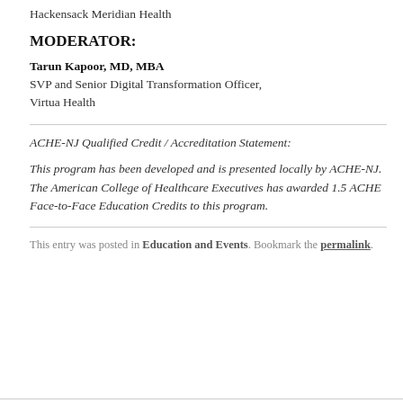Hackensack Meridian Health
MODERATOR:
Tarun Kapoor, MD, MBA
SVP and Senior Digital Transformation Officer, Virtua Health
ACHE-NJ Qualified Credit / Accreditation Statement:
This program has been developed and is presented locally by ACHE-NJ. The American College of Healthcare Executives has awarded 1.5 ACHE Face-to-Face Education Credits to this program.
This entry was posted in Education and Events. Bookmark the permalink.